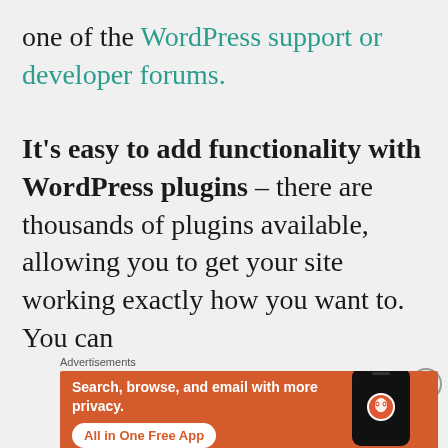one of the WordPress support or developer forums.
It’s easy to add functionality with WordPress plugins – there are thousands of plugins available, allowing you to get your site working exactly how you want to. You can
[Figure (infographic): DuckDuckGo advertisement banner with orange background showing 'Search, browse, and email with more privacy. All in One Free App' with a phone mockup and DuckDuckGo logo.]